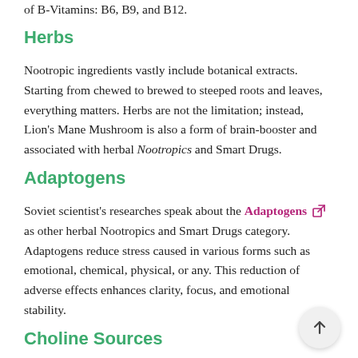of B-Vitamins: B6, B9, and B12.
Herbs
Nootropic ingredients vastly include botanical extracts. Starting from chewed to brewed to steeped roots and leaves, everything matters. Herbs are not the limitation; instead, Lion's Mane Mushroom is also a form of brain-booster and associated with herbal Nootropics and Smart Drugs.
Adaptogens
Soviet scientist's researches speak about the Adaptogens as other herbal Nootropics and Smart Drugs category. Adaptogens reduce stress caused in various forms such as emotional, chemical, physical, or any. This reduction of adverse effects enhances clarity, focus, and emotional stability.
Choline Sources